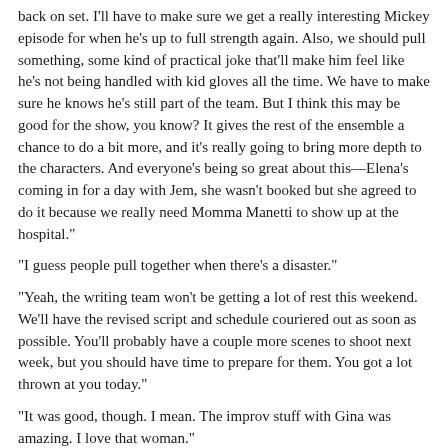back on set. I'll have to make sure we get a really interesting Mickey episode for when he's up to full strength again. Also, we should pull something, some kind of practical joke that'll make him feel like he's not being handled with kid gloves all the time. We have to make sure he knows he's still part of the team. But I think this may be good for the show, you know? It gives the rest of the ensemble a chance to do a bit more, and it's really going to bring more depth to the characters. And everyone's being so great about this—Elena's coming in for a day with Jem, she wasn't booked but she agreed to do it because we really need Momma Manetti to show up at the hospital."
"I guess people pull together when there's a disaster."
"Yeah, the writing team won't be getting a lot of rest this weekend. We'll have the revised script and schedule couriered out as soon as possible. You'll probably have a couple more scenes to shoot next week, but you should have time to prepare for them. You got a lot thrown at you today."
"It was good, though. I mean. The improv stuff with Gina was amazing. I love that woman."
"Yeah, get in line!" Lance got to his feet. "Get some rest over the weekend. There'll be a lot to do next week." He bent, and to Adam's astonishment kissed him firmly on the lips, said, "Seriously, good work today," and made his exit.
All in all, a kind of amazing day.